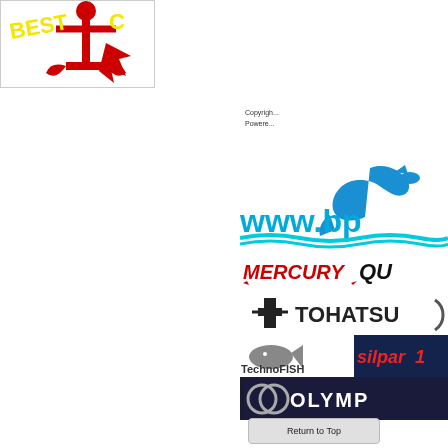[Figure (logo): Best Catch logo with red anchor and yellow text on white background]
Copyright
Powered
[Figure (logo): www.bp... website logo with blue dolphin and cyan wave graphic]
[Figure (logo): Mercury marine logo in red italic text]
[Figure (logo): Quicksilver (QU...) logo in black]
[Figure (logo): Tohatsu logo with T emblem]
[Figure (logo): TechnoFISH logo with fish graphic]
[Figure (logo): Silpar logo in red italic text on dark background]
[Figure (logo): Olympia logo in white on dark background]
Return to Top